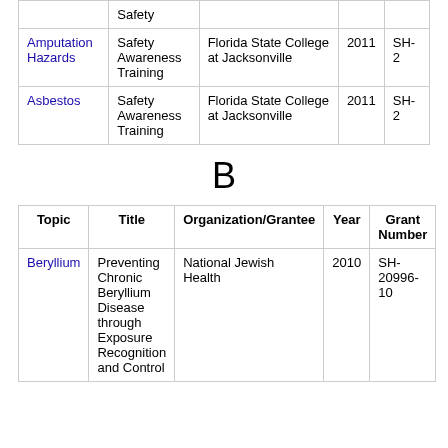| Topic | Title | Organization/Grantee | Year | Grant Number |
| --- | --- | --- | --- | --- |
| Safety |  |  |  |  |
| Amputation Hazards | Safety Awareness Training | Florida State College at Jacksonville | 2011 | SH-2 |
| Asbestos | Safety Awareness Training | Florida State College at Jacksonville | 2011 | SH-2 |
B
| Topic | Title | Organization/Grantee | Year | Grant Number |
| --- | --- | --- | --- | --- |
| Beryllium | Preventing Chronic Beryllium Disease through Exposure Recognition and Control | National Jewish Health | 2010 | SH-20996-10 |